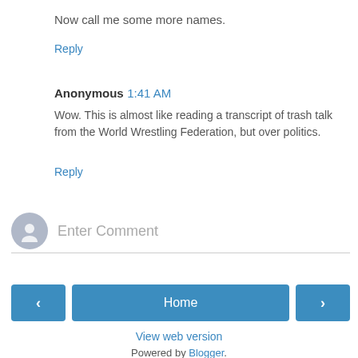Now call me some more names.
Reply
Anonymous 1:41 AM
Wow. This is almost like reading a transcript of trash talk from the World Wrestling Federation, but over politics.
Reply
[Figure (illustration): Enter Comment input field with avatar icon]
Home
View web version
Powered by Blogger.